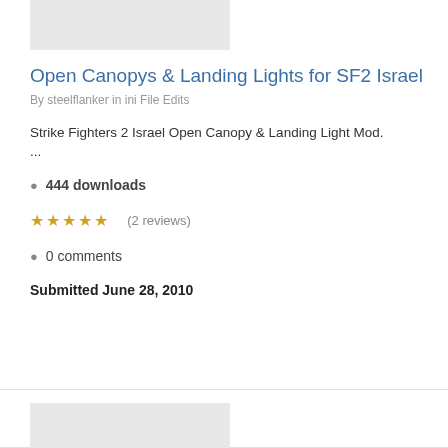[Figure (photo): Gray placeholder thumbnail image at top of first card]
Open Canopys & Landing Lights for SF2 Israel
By steelflanker in ini File Edits
Strike Fighters 2 Israel Open Canopy & Landing Light Mod.
...
444 downloads
★★★★★  (2 reviews)
0 comments
Submitted June 28, 2010
[Figure (photo): Gray placeholder thumbnail image at bottom of second card]